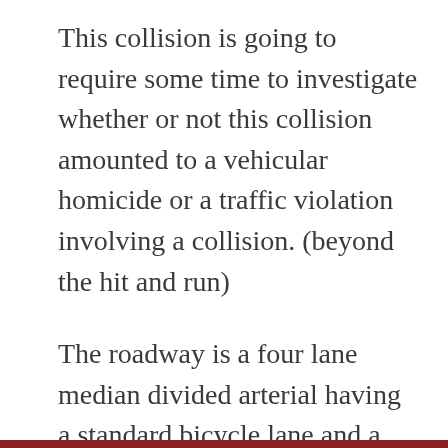This collision is going to require some time to investigate whether or not this collision amounted to a vehicular homicide or a traffic violation involving a collision. (beyond the hit and run)
The roadway is a four lane median divided arterial having a standard bicycle lane and a parking zone. The